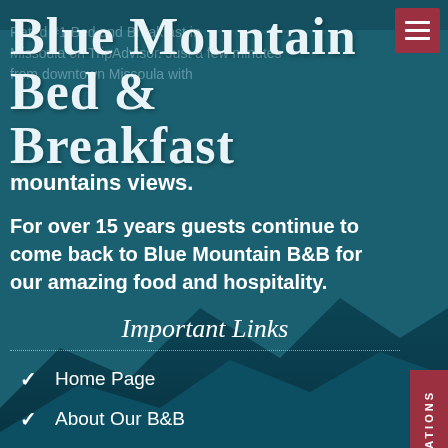Blue Mountain Bed & Breakfast
Rated #1 Bed and Breakfast in Missoula on TripAdvisor. Just a few minutes from downtown Missoula with mountains views.
For over 15 years guests continue to come back to Blue Mountain B&B for our amazing food and hospitality.
Important Links
Home Page
About Our B&B
Guest Rooms
Check Room Availability